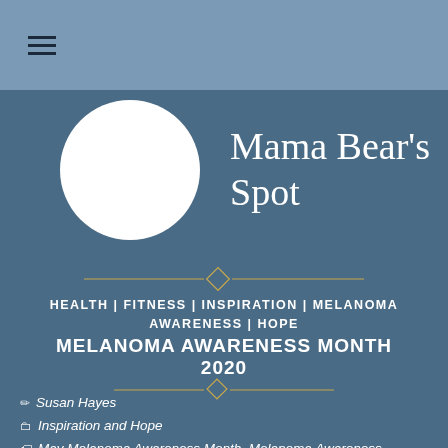≡
[Figure (logo): Mama Bear's Spot blog logo with white circle and script text]
HEALTH | FITNESS | INSPIRATION | MELANOMA AWARENESS | HOPE
MELANOMA AWARENESS MONTH 2020
Susan Hayes
Inspiration and Hope
May Melanoma Awareness Month, Melanoma Awareness